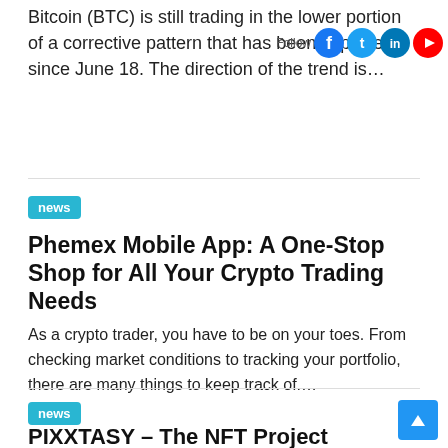Bitcoin (BTC) is still trading in the lower portion of a corrective pattern that has been in place since June 18. The direction of the trend is...
news
Phemex Mobile App: A One-Stop Shop for All Your Crypto Trading Needs
As a crypto trader, you have to be on your toes. From checking market conditions to tracking your portfolio, there are many things to keep track of....
news
PIXXTASY – The NFT Project Battling Drug Addiction
PIXXTASY uses the power of NFTs and blockchain